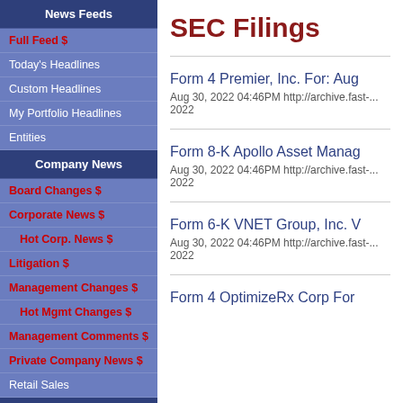News Feeds
Full Feed $
Today's Headlines
Custom Headlines
My Portfolio Headlines
Entities
Company News
Board Changes $
Corporate News $
Hot Corp. News $
Litigation $
Management Changes $
Hot Mgmt Changes $
Management Comments $
Private Company News $
Retail Sales
Dividends/Sh. Returns
Dividends $
SEC Filings
Form 4 Premier, Inc. For: Aug
Aug 30, 2022 04:46PM http://archive.fast-... 2022
Form 8-K Apollo Asset Manag...
Aug 30, 2022 04:46PM http://archive.fast-... 2022
Form 6-K VNET Group, Inc. ...
Aug 30, 2022 04:46PM http://archive.fast-... 2022
Form 4 OptimizeRx Corp For...